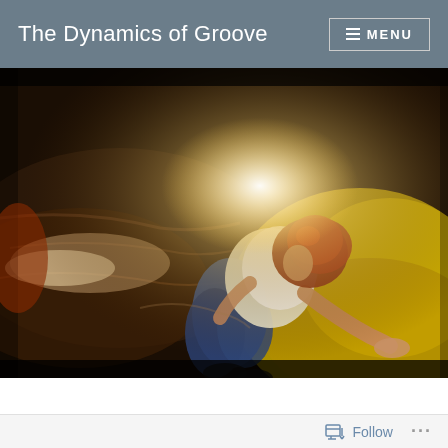The Dynamics of Groove  ☰ MENU
[Figure (photo): A person with red hair wearing a white top and blue jeans, kneeling or crouching on wet rocks near flowing water, photographed from above with warm yellow-toned overexposed filter effect.]
Follow  ...